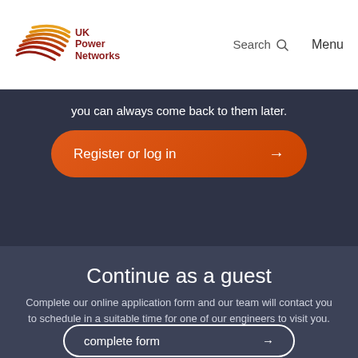[Figure (logo): UK Power Networks logo with orange/red swoosh graphic and dark red text]
Search  Menu
you can always come back to them later.
Register or log in →
Continue as a guest
Complete our online application form and our team will contact you to schedule in a suitable time for one of our engineers to visit you.
complete form →